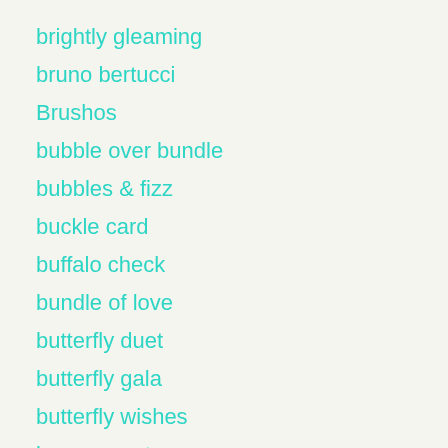brightly gleaming
bruno bertucci
Brushos
bubble over bundle
bubbles & fizz
buckle card
buffalo check
bundle of love
butterfly duet
butterfly gala
butterfly wishes
buy one get one
cactus
Cactus Cuties